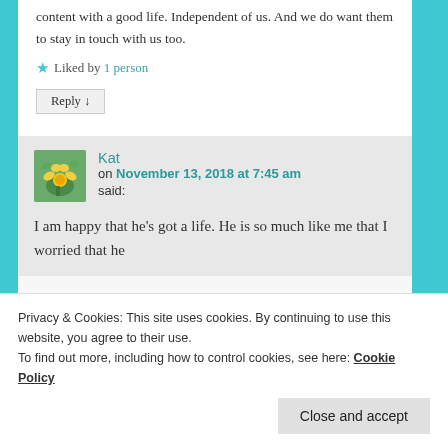content with a good life. Independent of us. And we do want them to stay in touch with us too.
★ Liked by 1 person
Reply ↓
Kat on November 13, 2018 at 7:45 am said:
I am happy that he's got a life. He is so much like me that I worried that he
Privacy & Cookies: This site uses cookies. By continuing to use this website, you agree to their use.
To find out more, including how to control cookies, see here: Cookie Policy
Close and accept